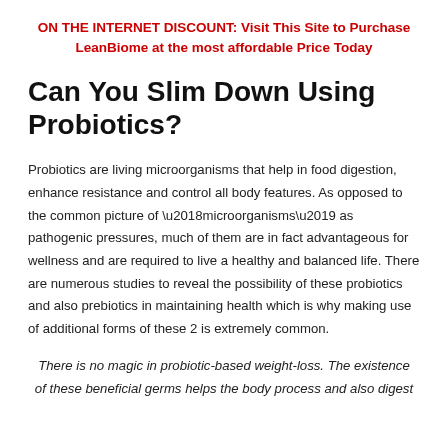ON THE INTERNET DISCOUNT: Visit This Site to Purchase LeanBiome at the most affordable Price Today
Can You Slim Down Using Probiotics?
Probiotics are living microorganisms that help in food digestion, enhance resistance and control all body features. As opposed to the common picture of ‘microorganisms’ as pathogenic pressures, much of them are in fact advantageous for wellness and are required to live a healthy and balanced life. There are numerous studies to reveal the possibility of these probiotics and also prebiotics in maintaining health which is why making use of additional forms of these 2 is extremely common.
There is no magic in probiotic-based weight-loss. The existence of these beneficial germs helps the body process and also digest